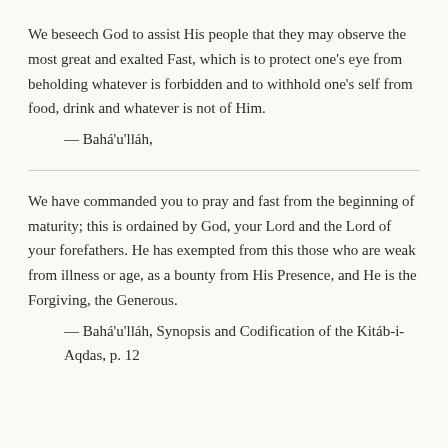We beseech God to assist His people that they may observe the most great and exalted Fast, which is to protect one's eye from beholding whatever is forbidden and to withhold one's self from food, drink and whatever is not of Him.
— Bahá'u'lláh,
We have commanded you to pray and fast from the beginning of maturity; this is ordained by God, your Lord and the Lord of your forefathers. He has exempted from this those who are weak from illness or age, as a bounty from His Presence, and He is the Forgiving, the Generous.
— Bahá'u'lláh, Synopsis and Codification of the Kitáb-i-Aqdas, p. 12